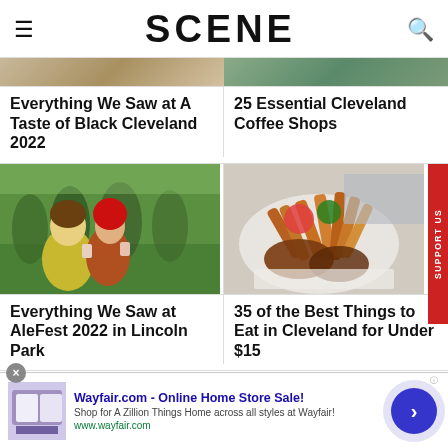SCENE
[Figure (photo): Partial photo strip at top left - event/outdoor scene]
Everything We Saw at A Taste of Black Cleveland 2022
[Figure (photo): Partial photo strip at top right - outdoor scene]
25 Essential Cleveland Coffee Shops
[Figure (photo): Two women smiling at outdoor event, one with red hair, holding drinks]
Everything We Saw at AleFest 2022 in Lincoln Park
[Figure (photo): Plate of food - sweet potato fries and meat dishes with sauces]
35 of the Best Things to Eat in Cleveland for Under $15
Wayfair.com - Online Home Store Sale! Shop for A Zillion Things Home across all styles at Wayfair! www.wayfair.com